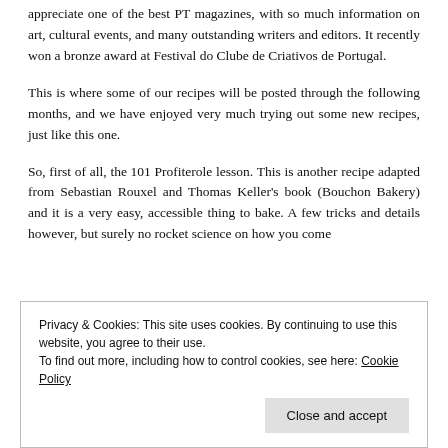appreciate one of the best PT magazines, with so much information on art, cultural events, and many outstanding writers and editors. It recently won a bronze award at Festival do Clube de Criativos de Portugal.
This is where some of our recipes will be posted through the following months, and we have enjoyed very much trying out some new recipes, just like this one.
So, first of all, the 101 Profiterole lesson. This is another recipe adapted from Sebastian Rouxel and Thomas Keller's book (Bouchon Bakery) and it is a very easy, accessible thing to bake. A few tricks and details however, but surely no rocket science on how you come
Privacy & Cookies: This site uses cookies. By continuing to use this website, you agree to their use.
To find out more, including how to control cookies, see here: Cookie Policy
Close and accept